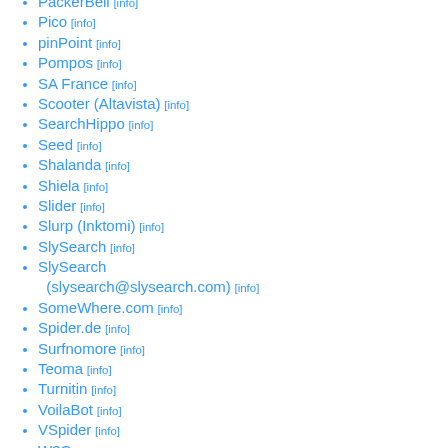PackerBell [info]
Pico [info]
pinPoint [info]
Pompos [info]
SA France [info]
Scooter (Altavista) [info]
SearchHippo [info]
Seed [info]
Shalanda [info]
Shiela [info]
Slider [info]
Slurp (Inktomi) [info]
SlySearch [info]
SlySearch (slysearch@slysearch.com) [info]
SomeWhere.com [info]
Spider.de [info]
Surfnomore [info]
Teoma [info]
Turnitin [info]
VoilaBot [info]
VSpider [info]
W3C [info]
Wanadoo [info]
Web Link Validator [info]
WebTrends [info]
WebZip [info]
What U Seek [info]
Wisenut - Korea [info]
Xenu [info]
Yahoo [info]